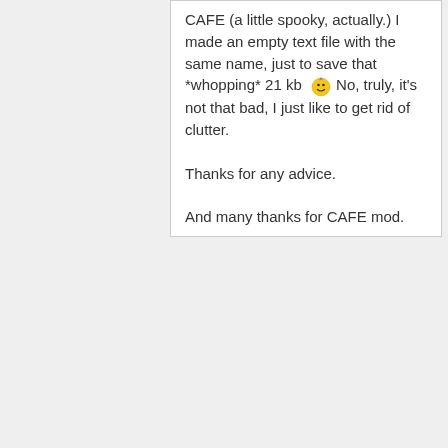CAFE (a little spooky, actually.) I made an empty text file with the same name, just to save that *whopping* 21 kb No, truly, it's not that bad, I just like to get rid of clutter.

Thanks for any advice.

And many thanks for CAFE mod.
Top
Log in or register to post comments
December 3, 2007 - 10:12pm (Reply to #21) #22
Patrick Patience
Offline
Last seen: 2 years 8 months ago
Joined: 2007-02-20 19:26
Excellent Idea
'The space saver than can save you 21KB!'

That's enough space for...well...a license file!